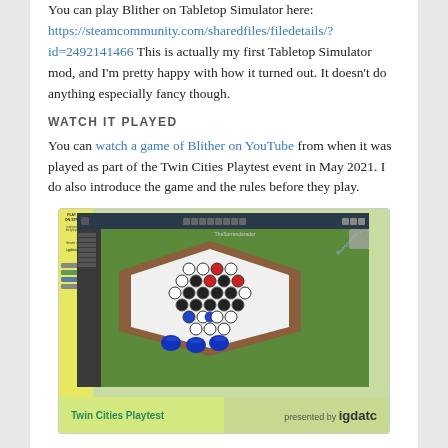You can play Blither on Tabletop Simulator here: https://steamcommunity.com/sharedfiles/filedetails/?id=2492141466 This is actually my first Tabletop Simulator mod, and I'm pretty happy with how it turned out. It doesn't do anything especially fancy though.
WATCH IT PLAYED
You can watch a game of Blither on YouTube from when it was played as part of the Twin Cities Playtest event in May 2021. I do also introduce the game and the rules before they play.
[Figure (screenshot): Screenshot from Tabletop Simulator showing a game of Blither being played on a hexagonal board with red and blue pieces, displayed during a Twin Cities Playtest event presented by IGDA TC.]